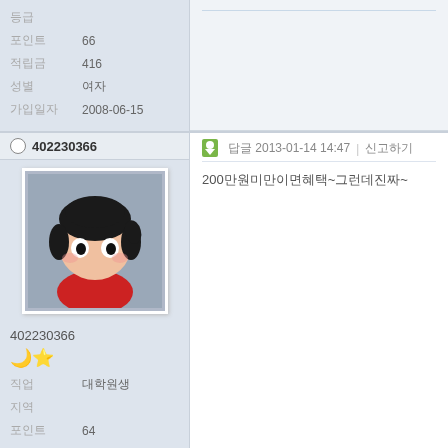| 등급 |  |
| 포인트 | 66 |
| 적립금 | 416 |
| 성별 | 여자 |
| 가입일자 | 2008-06-15 |
402230366
[Figure (illustration): Cartoon avatar of a girl with black hair wearing a red shirt, on gray background]
402230366
🌙⭐
| 직업 | 대학원생 |
| 지역 |  |
| 포인트 | 64 |
답글 2013-01-14 14:47  |  신고하기
200만원미만이면혜택~그런데진짜~